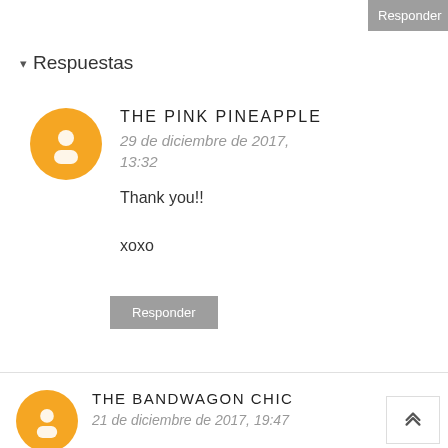Responder
▾ Respuestas
THE PINK PINEAPPLE
29 de diciembre de 2017, 13:32
Thank you!!

xoxo
Responder
THE BANDWAGON CHIC
21 de diciembre de 2017, 19:47
Cool outfit inspirations for the upcoming holiday.
I love the one sided top.